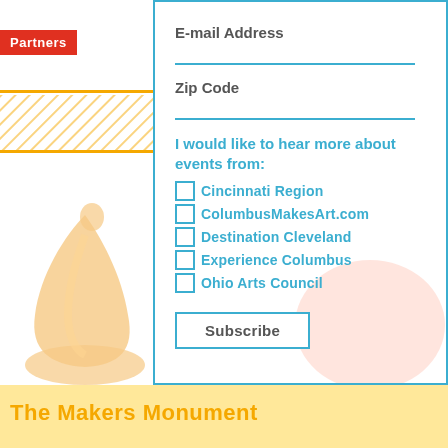Partners
E-mail Address
Zip Code
I would like to hear more about events from:
Cincinnati Region
ColumbusMakesArt.com
Destination Cleveland
Experience Columbus
Ohio Arts Council
Subscribe
The Makers Monument